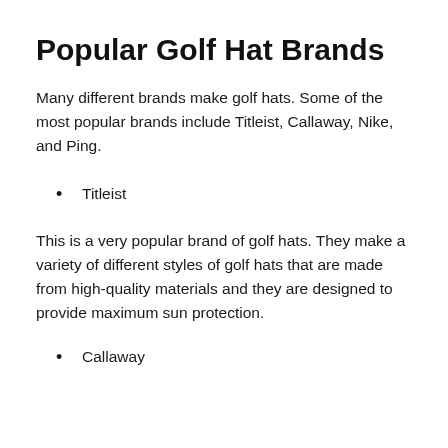Popular Golf Hat Brands
Many different brands make golf hats. Some of the most popular brands include Titleist, Callaway, Nike, and Ping.
Titleist
This is a very popular brand of golf hats. They make a variety of different styles of golf hats that are made from high-quality materials and they are designed to provide maximum sun protection.
Callaway